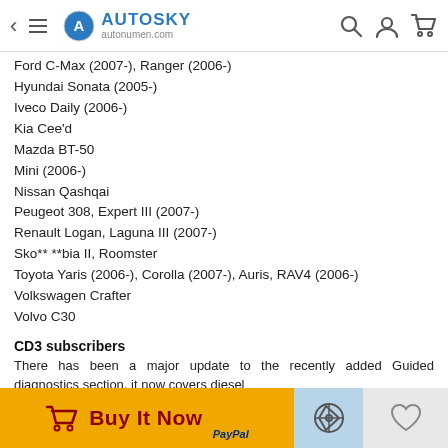AUTOSKY autonumen.com
Ford C-Max (2007-), Ranger (2006-)
Hyundai Sonata (2005-)
Iveco Daily (2006-)
Kia Cee'd
Mazda BT-50
Mini (2006-)
Nissan Qashqai
Peugeot 308, Expert III (2007-)
Renault Logan, Laguna III (2007-)
Sko** **bia II, Roomster
Toyota Yaris (2006-), Corolla (2007-), Auris, RAV4 (2006-)
Volkswagen Crafter
Volvo C30
CD3 subscribers
There has been a major update to the recently added Guided diagnostics section, it now covers diesel powered vehicles as well as petrol. Over 2750 diesel models are now covered, including; common rail, fully electronic rotary pumps and VAG unit injector (PD) systems. There are also an extra 110 vehicles covered by additional wiring diagrams, including: